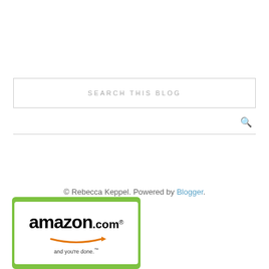SEARCH THIS BLOG
© Rebecca Keppel. Powered by Blogger.
[Figure (logo): Amazon.com logo with tagline 'and you’re done.' on green background]